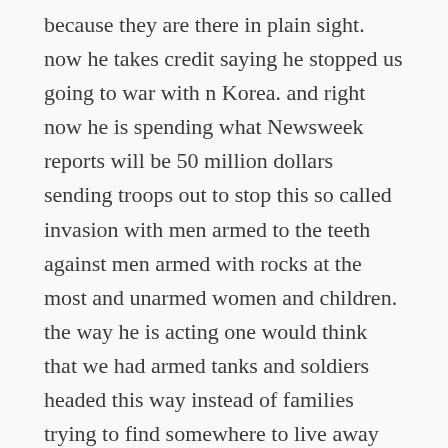because they are there in plain sight. now he takes credit saying he stopped us going to war with n Korea. and right now he is spending what Newsweek reports will be 50 million dollars sending troops out to stop this so called invasion with men armed to the teeth against men armed with rocks at the most and unarmed women and children. the way he is acting one would think that we had armed tanks and soldiers headed this way instead of families trying to find somewhere to live away from senseless violence. if those poor people only knew what our country has become. and those people won't get here for weeks which is why this is a total waste of taxpayer money. but its all a push to turn